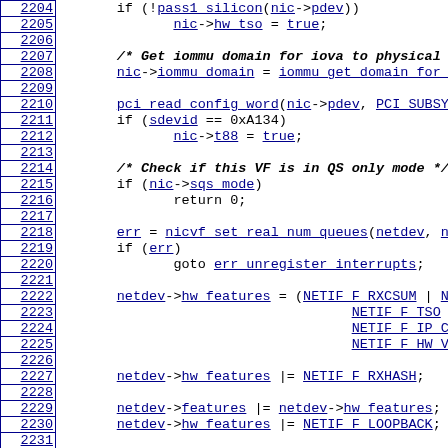[Figure (screenshot): Source code listing showing C code lines 2204-2233 with line numbers in bordered cells on the left and syntax-highlighted/linked code on the right. Blue underlined hyperlinks are used for identifiers and function names.]